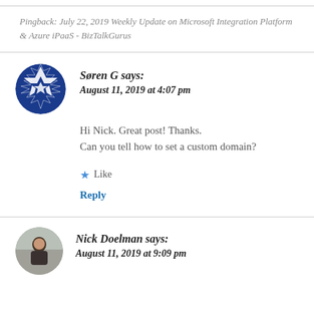Pingback: July 22, 2019 Weekly Update on Microsoft Integration Platform & Azure iPaaS - BizTalkGurus
Søren G says: August 11, 2019 at 4:07 pm
Hi Nick. Great post! Thanks.
Can you tell how to set a custom domain?
Like
Reply
Nick Doelman says: August 11, 2019 at 9:09 pm